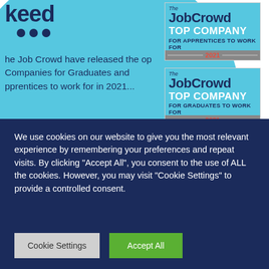[Figure (logo): Partial 'keed' logo text in dark navy with three dots below, on a light blue circle background]
he Job Crowd have released the op Companies for Graduates and pprentices to work for in 2021...
eed have (once again) secured op spots within the top 30 and op 40 rankings.
[Figure (logo): The JobCrowd TOP COMPANY FOR APPRENTICES TO WORK FOR 2021 badge]
[Figure (logo): The JobCrowd TOP COMPANY FOR GRADUATES TO WORK FOR 2021 badge]
Graduates & Apprentices Best
We use cookies on our website to give you the most relevant experience by remembering your preferences and repeat visits. By clicking "Accept All", you consent to the use of ALL the cookies. However, you may visit "Cookie Settings" to provide a controlled consent.
Cookie Settings
Accept All